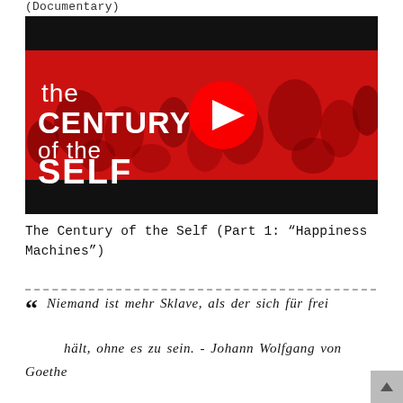(Documentary)
[Figure (screenshot): YouTube video thumbnail for 'The Century of the Self' showing a red-tinted crowd with white text reading 'the CENTURY of the SELF' and a YouTube play button overlay.]
The Century of the Self (Part 1: “Happiness Machines”)
Niemand ist mehr Sklave, als der sich für frei hält, ohne es zu sein. - Johann Wolfgang von Goethe